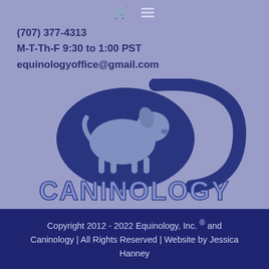[Figure (other): Shopping cart and hamburger menu icons in light lavender color at the top center]
(707) 377-4313
M-T-Th-F 9:30 to 1:00 PST
equinologyoffice@gmail.com
[Figure (logo): Caninology logo: a silver 3D dog standing on a dark blue oval with a swooping dark blue curved tail shape, and the word CANINOLOGY in large 3D blue beveled letters below]
Copyright 2012 - 2022 Equinology, Inc. ® and Caninology | All Rights Reserved | Website by Jessica Hanney